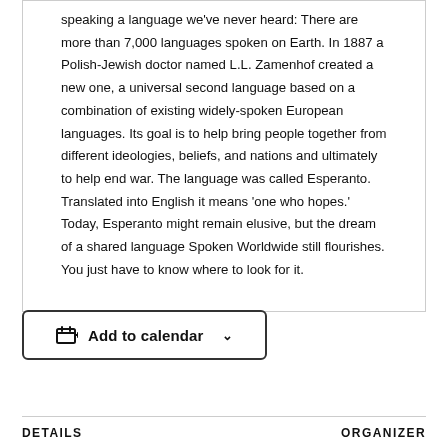speaking a language we've never heard: There are more than 7,000 languages spoken on Earth. In 1887 a Polish-Jewish doctor named L.L. Zamenhof created a new one, a universal second language based on a combination of existing widely-spoken European languages. Its goal is to help bring people together from different ideologies, beliefs, and nations and ultimately to help end war. The language was called Esperanto. Translated into English it means 'one who hopes.' Today, Esperanto might remain elusive, but the dream of a shared language Spoken Worldwide still flourishes. You just have to know where to look for it.
[Figure (other): Add to calendar button with calendar icon and dropdown chevron]
DETAILS
ORGANIZER